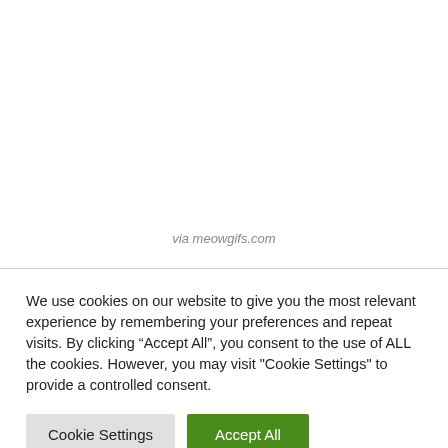via meowgifs.com
We use cookies on our website to give you the most relevant experience by remembering your preferences and repeat visits. By clicking “Accept All”, you consent to the use of ALL the cookies. However, you may visit "Cookie Settings" to provide a controlled consent.